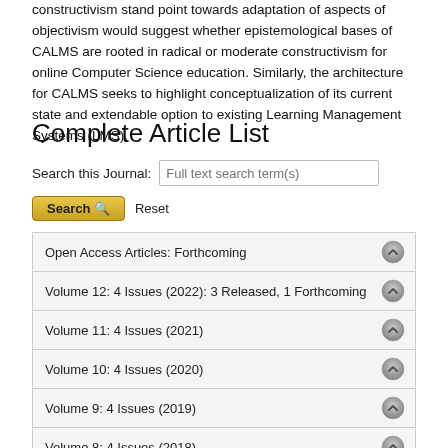constructivism stand point towards adaptation of aspects of objectivism would suggest whether epistemological bases of CALMS are rooted in radical or moderate constructivism for online Computer Science education. Similarly, the architecture for CALMS seeks to highlight conceptualization of its current state and extendable option to existing Learning Management Systems (LMS).
Complete Article List
Search this Journal:
Open Access Articles: Forthcoming
Volume 12: 4 Issues (2022): 3 Released, 1 Forthcoming
Volume 11: 4 Issues (2021)
Volume 10: 4 Issues (2020)
Volume 9: 4 Issues (2019)
Volume 8: 4 Issues (2018)
Volume 7: 4 Issues (2017)
Volume 6: 4 Issues (2016)
Volume 5: 4 Issues (2015)